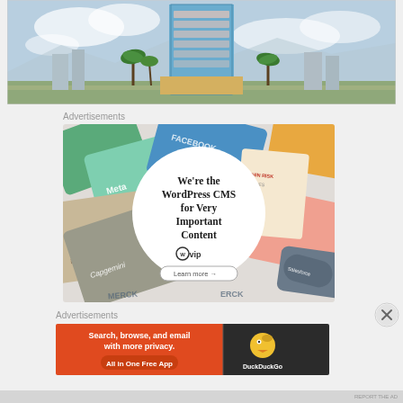[Figure (photo): Tall modern skyscraper building rendering with blue glass facade, palm trees in foreground, other buildings in background, daytime sky]
Advertisements
[Figure (other): WordPress VIP advertisement. Background shows scattered branded cards (Meta, Facebook, Capgemini, Merck, Salesforce, etc.). Central white circle with bold serif text: We're the WordPress CMS for Very Important Content, WordPress VIP logo, and Learn more button.]
[Figure (other): Close (X) button overlay]
Advertisements
[Figure (other): DuckDuckGo advertisement. Left orange section: Search, browse, and email with more privacy. All in One Free App. Right dark section: DuckDuckGo duck logo and brand name.]